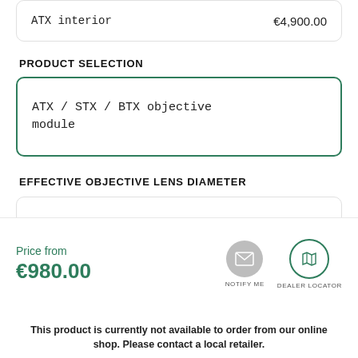ATX Interior   €4,900.00
PRODUCT SELECTION
ATX / STX / BTX objective module
EFFECTIVE OBJECTIVE LENS DIAMETER
65   €980.00
Price from
€980.00
[Figure (illustration): Notify me icon (envelope) and Dealer Locator icon (map pin) circles]
This product is currently not available to order from our online shop. Please contact a local retailer.